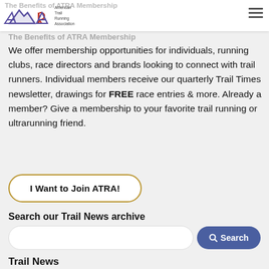The Benefits of ATRA Membership | American Trail Running Association
The Benefits of ATRA Membership
We offer membership opportunities for individuals, running clubs, race directors and brands looking to connect with trail runners. Individual members receive our quarterly Trail Times newsletter, drawings for FREE race entries & more. Already a member? Give a membership to your favorite trail running or ultrarunning friend.
I Want to Join ATRA!
Search our Trail News archive
Search
Trail News
The latest news and event information.